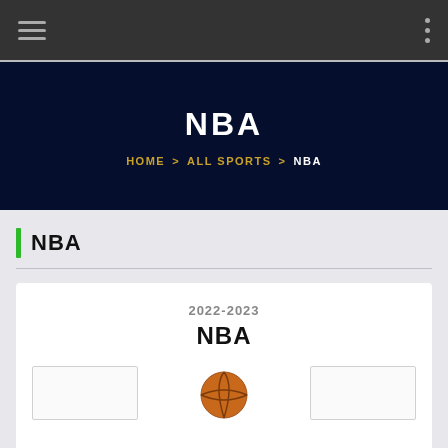NBA — HOME > ALL SPORTS > NBA
NBA
HOME > ALL SPORTS > NBA
NBA
2022-2023
NBA